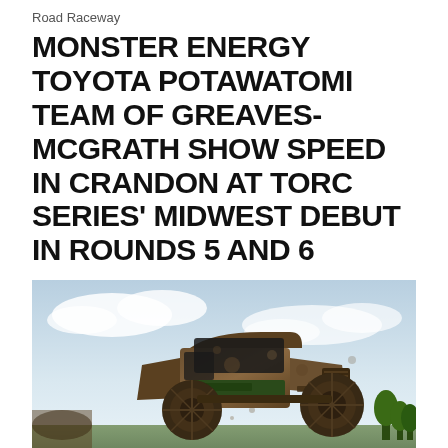Road Raceway
MONSTER ENERGY TOYOTA POTAWATOMI TEAM OF GREAVES-MCGRATH SHOW SPEED IN CRANDON AT TORC SERIES' MIDWEST DEBUT IN ROUNDS 5 AND 6
[Figure (photo): A mud-covered off-road race truck (Toyota, with Monster Energy and Potawatomi sponsorship livery) airborne mid-race against a partly cloudy sky background.]